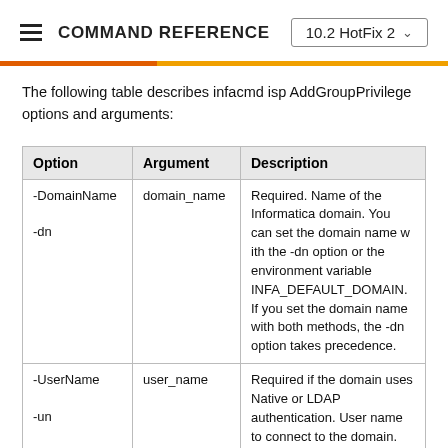COMMAND REFERENCE  10.2 HotFix 2
The following table describes infacmd isp AddGroupPrivilege options and arguments:
| Option | Argument | Description |
| --- | --- | --- |
| -DomainName
-dn | domain_name | Required. Name of the Informatica domain. You can set the domain name with the -dn option or the environment variable INFA_DEFAULT_DOMAIN. If you set the domain name with both methods, the -dn option takes precedence. |
| -UserName
-un | user_name | Required if the domain uses Native or LDAP authentication. User name to connect to the domain. You can set the user name with the -un option or the environment variable INFA_DEFAULT_DOMAIN_USER. If you set both the user name and... |